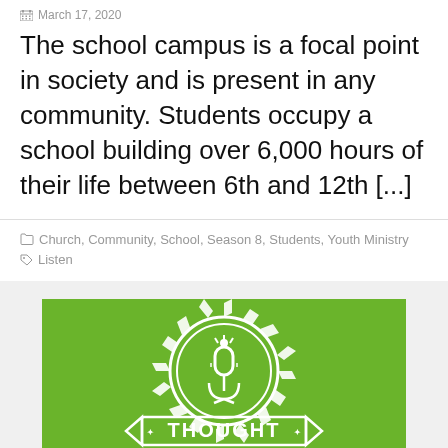March 17, 2020
The school campus is a focal point in society and is present in any community. Students occupy a school building over 6,000 hours of their life between 6th and 12th [...]
Church, Community, School, Season 8, Students, Youth Ministry
Listen
[Figure (logo): Green background with white gear/cog icon containing a microphone symbol and a banner that reads THOUGHT]